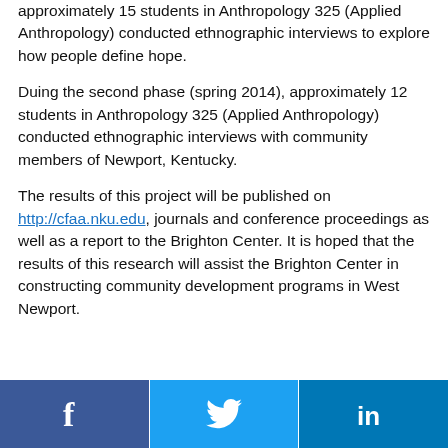approximately 15 students in Anthropology 325 (Applied Anthropology) conducted ethnographic interviews to explore how people define hope.
Duing the second phase (spring 2014), approximately 12 students in Anthropology 325 (Applied Anthropology) conducted ethnographic interviews with community members of Newport, Kentucky.
The results of this project will be published on http://cfaa.nku.edu, journals and conference proceedings as well as a report to the Brighton Center. It is hoped that the results of this research will assist the Brighton Center in constructing community development programs in West Newport.
[Figure (other): Social sharing bar with three buttons: Facebook (dark blue), Twitter (light blue), LinkedIn (medium blue), each showing their respective icons.]